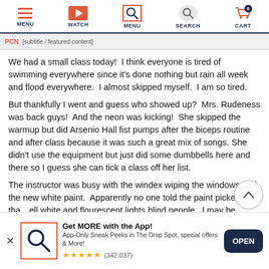MENU | WATCH | SEARCH (active) | SEARCH | CART
PCN [subtitle text]
We had a small class today!  I think everyone is tired of swimming everywhere since it's done nothing but rain all week and flood everywhere.  I almost skipped myself.  I am so tired.
But thankfully I went and guess who showed up?  Mrs. Rudeness was back guys!  And the neon was kicking!  She skipped the warmup but did Arsenio Hall fist pumps after the biceps routine and after class because it was such a great mix of songs. She didn't use the equipment but just did some dumbbells here and there so I guess she can tick a class off her list.
The instructor was busy with the windex wiping the windows and the new white paint.  Apparently no one told the paint picker that…ell white and flourescent lights blind people.  I may be wearing…
[Figure (screenshot): App promotion banner with QLevin logo, 'Get MORE with the App!' text, description, star rating (342,037 reviews), and OPEN button]